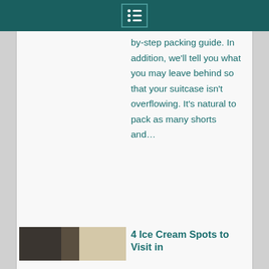by-step packing guide. In addition, we'll tell you what you may leave behind so that your suitcase isn't overflowing. It's natural to pack as many shorts and...
[Figure (photo): Thumbnail image of an article, blurred/partially visible, showing a light-colored background with dark elements]
4 Ice Cream Spots to Visit in